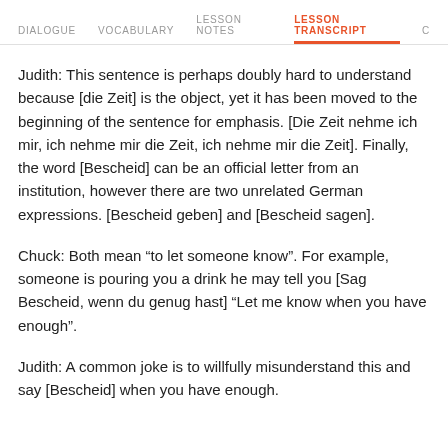DIALOGUE  VOCABULARY  LESSON NOTES  LESSON TRANSCRIPT  C
Judith: This sentence is perhaps doubly hard to understand because [die Zeit] is the object, yet it has been moved to the beginning of the sentence for emphasis. [Die Zeit nehme ich mir, ich nehme mir die Zeit, ich nehme mir die Zeit]. Finally, the word [Bescheid] can be an official letter from an institution, however there are two unrelated German expressions. [Bescheid geben] and [Bescheid sagen].
Chuck: Both mean “to let someone know”. For example, someone is pouring you a drink he may tell you [Sag Bescheid, wenn du genug hast] “Let me know when you have enough”.
Judith: A common joke is to willfully misunderstand this and say [Bescheid] when you have enough.